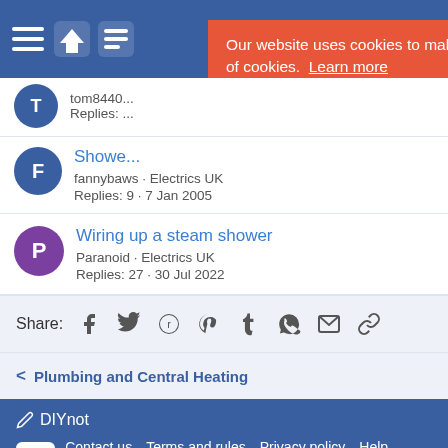DIYnot navigation bar
[Figure (screenshot): Cookie consent banner with orange background and yellow Accept button]
Our website uses cookies to make your browsing experience better. By continuing, you are consenting to our use of cookies. Learn more
Accept
tom844... · Replies:
Showe...
fannybaws · Electrics UK
Replies: 9 · 7 Jan 2005
Wiring up a steam shower
Paranoid · Electrics UK
Replies: 27 · 30 Jul 2022
Share:
< Plumbing and Central Heating
DIYnot · Contact us · Terms and rules · Privacy policy · Help · Home